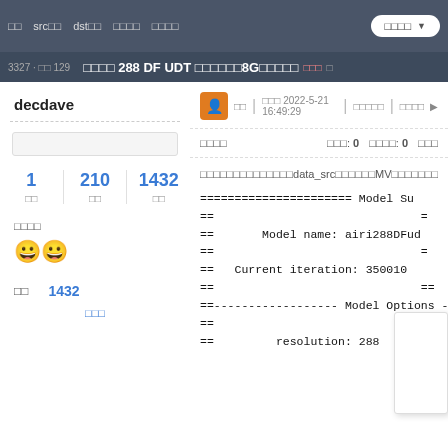□□  src□□  dst□□  □□□□  □□□□  □□□□▼
□□□□ 288 DF UDT □□□□□□8G□□□□□ □□□
decdave
1 □□  210 □□  1432 □□
□□□□
[Figure (other): Two smiley face emoji icons]
□□  1432
□□□
□□  □□□ 2022-5-21 16:49:29  □□□□  □□□□ ▶
□□□□  □□□: 0  □□□□: 0  □□□
□□□□□□□□□□□□□□data_src□□□□□□MV□□□□□□□□□□□□□□□
====================== Model Su
==                              =
==      Model name: airi288DFud
==                              =
==   Current iteration: 350010
==                              ==
==------------------ Model Options ------------------
==                              ==
==         resolution: 288      ==